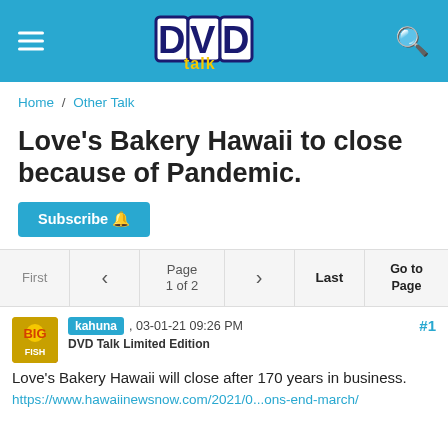DVD Talk
Home / Other Talk
Love's Bakery Hawaii to close because of Pandemic.
Subscribe
First  <  Page 1 of 2  >  Last  Go to Page
kahuna , 03-01-21 09:26 PM
DVD Talk Limited Edition
#1
Love's Bakery Hawaii will close after 170 years in business.
https://www.hawaiinewsnow.com/2021/0...ons-end-march/